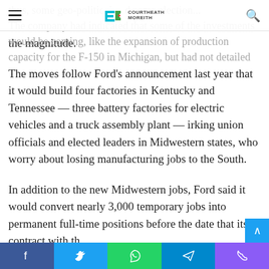Navigation bar with hamburger menu, logo (Courtheath Moreith), and search icon
the magnitude.
The moves follow Ford's announcement last year that it would build four factories in Kentucky and Tennessee — three battery factories for electric vehicles and a truck assembly plant — irking union officials and elected leaders in Midwestern states, who worry about losing manufacturing jobs to the South.
In addition to the new Midwestern jobs, Ford said it would convert nearly 3,000 temporary jobs into permanent full-time positions before the date that its contract with th
Social share buttons: Facebook, Twitter, WhatsApp, Telegram, Phone